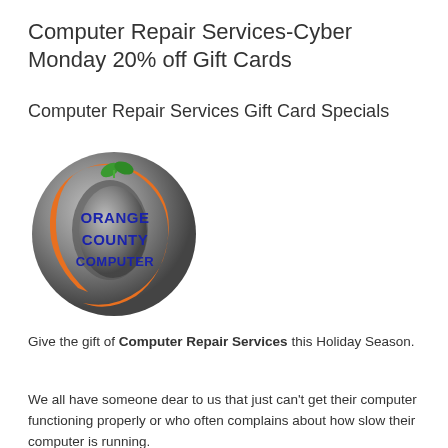Computer Repair Services-Cyber Monday 20% off Gift Cards
Computer Repair Services Gift Card Specials
[Figure (logo): Orange County Computer logo: a gray sphere with an orange crescent shape and green leaf, with the text ORANGE COUNTY COMPUTER in blue bold letters]
Give the gift of Computer Repair Services this Holiday Season.
We all have someone dear to us that just can't get their computer functioning properly or who often complains about how slow their computer is running.